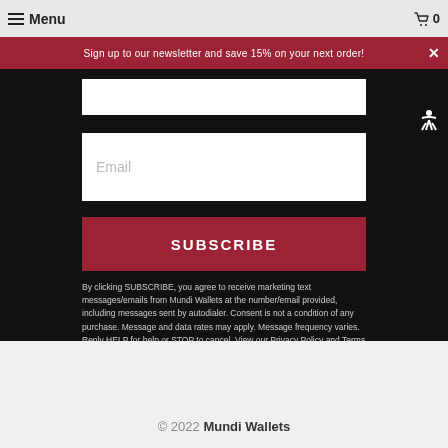Menu  0
Sign up to our newsletter and save 15% on your next order!
Email
SUBSCRIBE
By clicking SUBSCRIBE, you agree to receive marketing text messages/emails from Mundi Wallets at the number/email provided, including messages sent by autodialer. Consent is not a condition of any purchase. Message and data rates may apply. Message frequency varies. Reply HELP for help or STOP to cancel. View our Privacy Policy and Terms of Service.
© 2022 Mundi Wallets